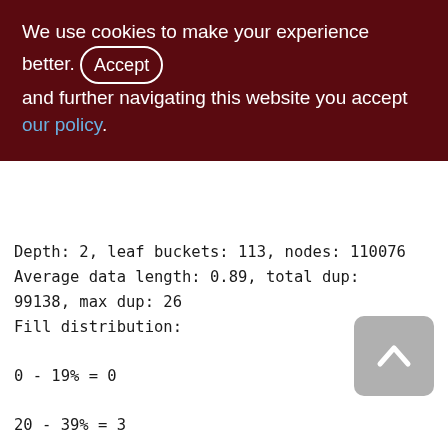We use cookies to make your experience better. By accepting and further navigating this website you accept our policy.
Depth: 2, leaf buckets: 113, nodes: 110076
Average data length: 0.89, total dup:
99138, max dup: 26
Fill distribution:
0 - 19% = 0
20 - 39% = 3
40 - 59% = 63
60 - 79% = 31
80 - 99% = 16
Index PDISTR_SNDOP_RCVOP_SNDID_DESC
Depth: 2, leaf buckets: 118, nodes: 110076
Average data length: 0.89, total dup: